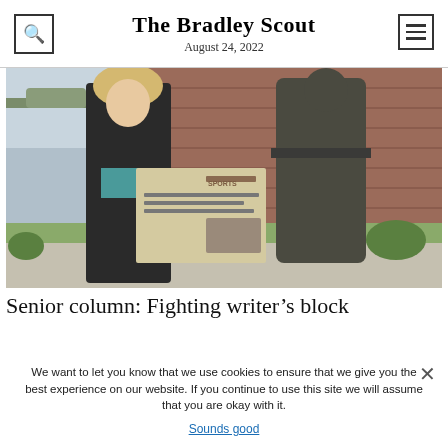The Bradley Scout
August 24, 2022
[Figure (photo): A woman with blonde hair holding an open newspaper next to a bronze statue, on a campus with a brick building in the background.]
Senior column: Fighting writer's block
We want to let you know that we use cookies to ensure that we give you the best experience on our website. If you continue to use this site we will assume that you are okay with it.
Sounds good